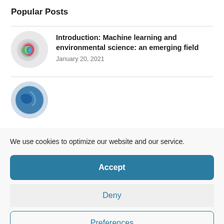Popular Posts
[Figure (illustration): Circular thumbnail image showing a colorful abstract map with pink, green, and blue tones on a white/grey background]
Introduction: Machine learning and environmental science: an emerging field
January 20, 2021
[Figure (illustration): Circular thumbnail image showing a blue globe/earth on a light background, partially visible]
We use cookies to optimize our website and our service.
Accept
Deny
Preferences
Cookie Policy   Privacy Policy